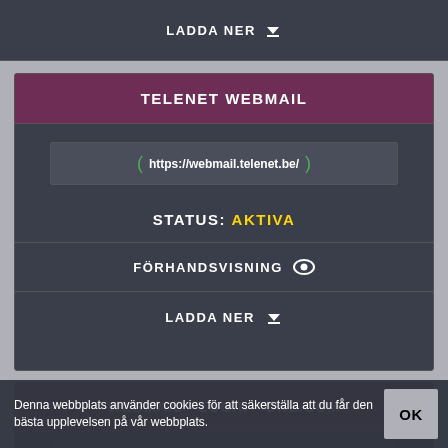LADDA NER ↓
TELENET WEBMAIL
https://webmail.telenet.be/
STATUS: AKTIVA
FÖRHANDSVISNING 👁
LADDA NER ↓
WEBMAIL - LOGIN - ONE.COM
https://login.one.com/mail
Denna webbplats använder cookies för att säkerställa att du får den bästa upplevelsen på vår webbplats.
OK